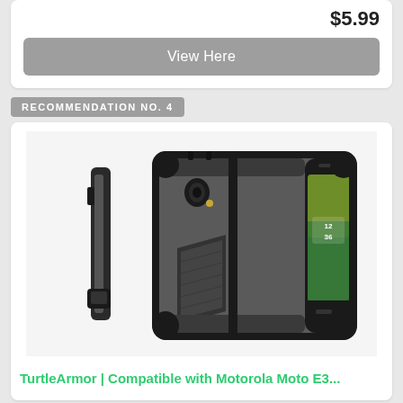$5.99
View Here
RECOMMENDATION NO. 4
[Figure (photo): Product photo of a TurtleArmor phone case shown from two angles: the side profile and the back, with a phone inside showing the screen with time 12:36. The case is black and dark grey with a trapezoid kickstand on the back.]
TurtleArmor | Compatible with Motorola Moto E3...